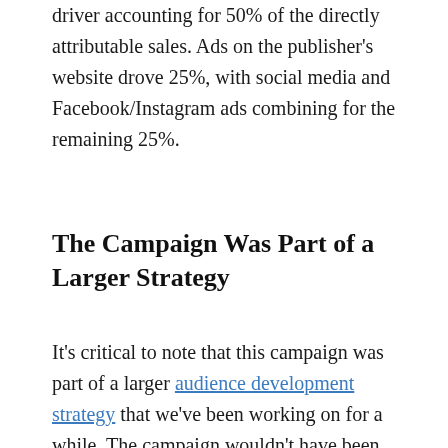driver accounting for 50% of the directly attributable sales. Ads on the publisher's website drove 25%, with social media and Facebook/Instagram ads combining for the remaining 25%.
The Campaign Was Part of a Larger Strategy
It's critical to note that this campaign was part of a larger audience development strategy that we've been working on for a while. The campaign wouldn't have been anywhere near as successful as an isolated subscription sales effort.